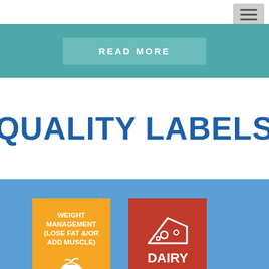[Figure (infographic): READ MORE button on teal background with hamburger menu icon]
QUALITY LABELS
[Figure (infographic): Two quality label cards on blue background: orange 'WEIGHT MANAGEMENT (LOSE FAT &/OR ADD MUSCLE)' card with apple icon, and red 'DAIRY FREE' card with cheese icon]